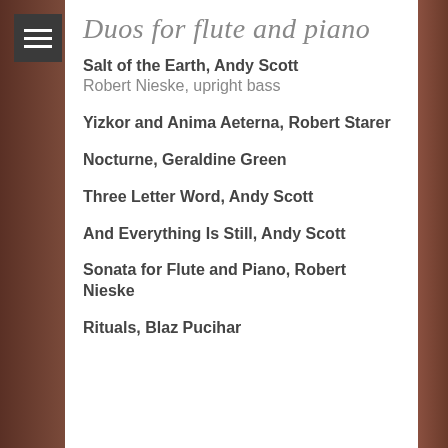Duos for flute and piano
Salt of the Earth, Andy Scott
Robert Nieske, upright bass
Yizkor and Anima Aeterna, Robert Starer
Nocturne, Geraldine Green
Three Letter Word, Andy Scott
And Everything Is Still, Andy Scott
Sonata for Flute and Piano, Robert Nieske
Rituals, Blaz Pucihar